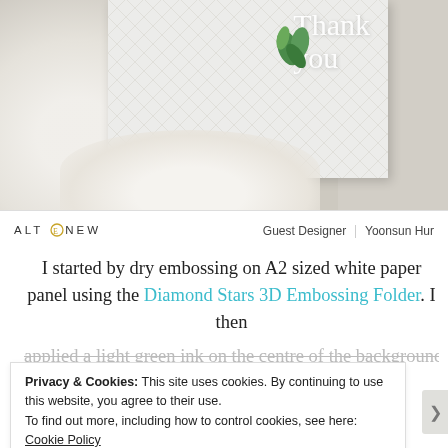[Figure (photo): Craft card photo showing a white embossed paper panel with 'Thank you' text and green leaf decorations, placed on a white crocheted doily against a linen background]
ALTENEW   Guest Designer | Yoonsun Hur
I started by dry embossing on A2 sized white paper panel using the Diamond Stars 3D Embossing Folder. I then applied a light green ink on the centre of the background
Privacy & Cookies: This site uses cookies. By continuing to use this website, you agree to their use.
To find out more, including how to control cookies, see here: Cookie Policy
Close and accept